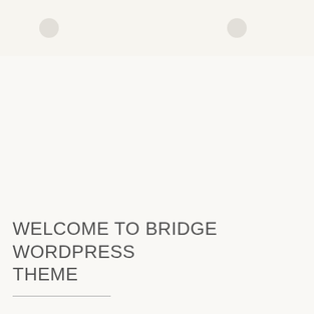[Figure (other): Navigation bar area with circular icon buttons partially visible at top of page]
WELCOME TO BRIDGE WORDPRESS THEME
Even the all-powerful Pointing has no control